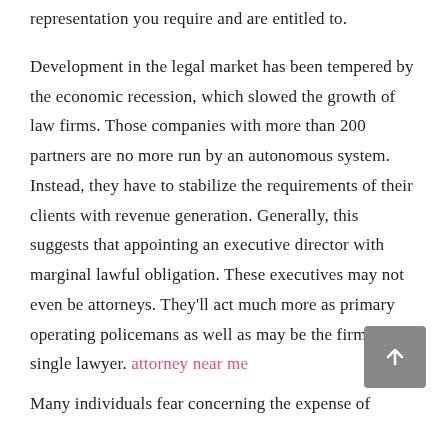representation you require and are entitled to.
Development in the legal market has been tempered by the economic recession, which slowed the growth of law firms. Those companies with more than 200 partners are no more run by an autonomous system. Instead, they have to stabilize the requirements of their clients with revenue generation. Generally, this suggests that appointing an executive director with marginal lawful obligation. These executives may not even be attorneys. They'll act much more as primary operating policemans as well as may be the firm's single lawyer. attorney near me
Many individuals fear concerning the expense of